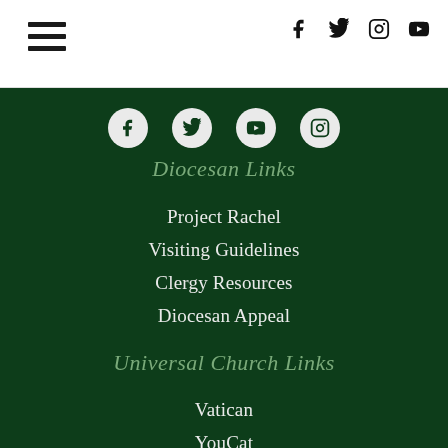[hamburger menu] [social icons: facebook, twitter, instagram, youtube]
[Figure (other): Social media icons row on dark green background: facebook, twitter, youtube, instagram]
Diocesan Links
Project Rachel
Visiting Guidelines
Clergy Resources
Diocesan Appeal
Universal Church Links
Vatican
YouCat
Papal Blessing
United States Conference of